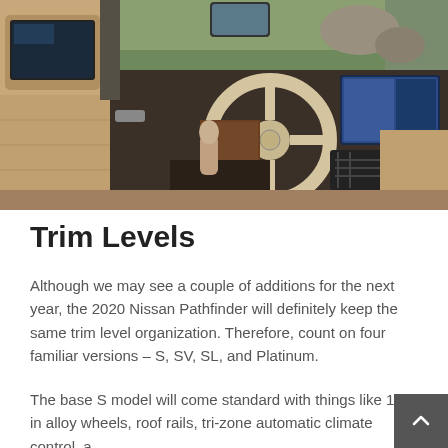[Figure (photo): Interior view of a Nissan Pathfinder showing tan/beige leather seats, steering wheel, dashboard with infotainment screen, center console, and rear headrest-mounted screen. Green foliage visible through windshield.]
Trim Levels
Although we may see a couple of additions for the next year, the 2020 Nissan Pathfinder will definitely keep the same trim level organization. Therefore, count on four familiar versions – S, SV, SL, and Platinum.
The base S model will come standard with things like 18-in alloy wheels, roof rails, tri-zone automatic climate control, a